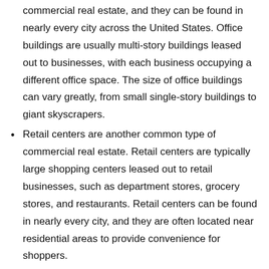commercial real estate, and they can be found in nearly every city across the United States. Office buildings are usually multi-story buildings leased out to businesses, with each business occupying a different office space. The size of office buildings can vary greatly, from small single-story buildings to giant skyscrapers.
Retail centers are another common type of commercial real estate. Retail centers are typically large shopping centers leased out to retail businesses, such as department stores, grocery stores, and restaurants. Retail centers can be found in nearly every city, and they are often located near residential areas to provide convenience for shoppers.
Industrial parks are commercial real estate properties